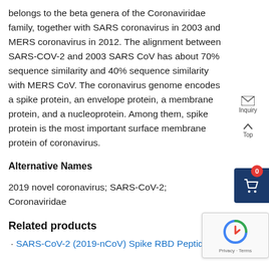belongs to the beta genera of the Coronaviridae family, together with SARS coronavirus in 2003 and MERS coronavirus in 2012. The alignment between SARS-COV-2 and 2003 SARS CoV has about 70% sequence similarity and 40% sequence similarity with MERS CoV. The coronavirus genome encodes a spike protein, an envelope protein, a membrane protein, and a nucleoprotein. Among them, spike protein is the most important surface membrane protein of coronavirus.
Alternative Names
2019 novel coronavirus; SARS-CoV-2; Coronaviridae
Related products
SARS-CoV-2 (2019-nCoV) Spike RBD Peptide